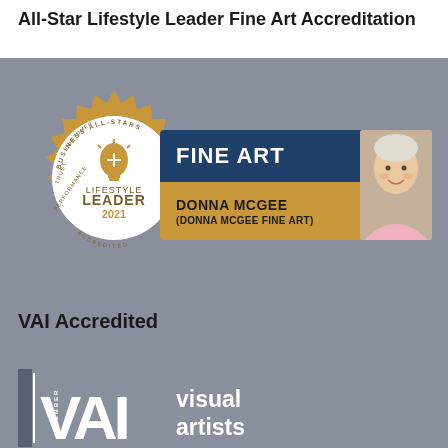All-Star Lifestyle Leader Fine Art Accreditation
[Figure (logo): Business All-Stars Lifestyle Leader 2021 Accredited gold seal badge with a lightbulb icon in the center, surrounded by text reading BUSINESS ALL-STARS, CUSTOMER-CENTRIC, COMPETENCE, PERFORMANCE, TRUST around the circular border. Below the badge is a ribbon banner in blue and gold reading FINE ART / DONNA MCGEE / (DONNA MCGEE FINE ART), plus a photo of a woman with short blonde/white hair smiling, wearing a pink top.]
VAI Accredited
[Figure (logo): VAI (Visual Artists Ireland) logo at the bottom of the page. Shows vertical text MEMBER on the left, large bold VAI letters, and 'visual artists' text to the right in white on grey background.]